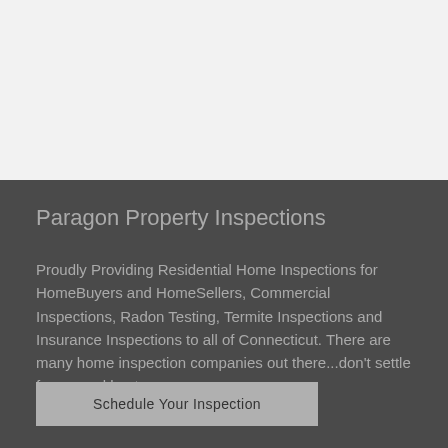Paragon Property Inspections
Proudly Providing Residential Home Inspections for HomeBuyers and HomeSellers, Commercial Inspections, Radon Testing, Termite Inspections and Insurance Inspections to all of Connecticut. There are many home inspection companies out there...don't settle for second best.
HOI. 1110
Schedule Your Inspection